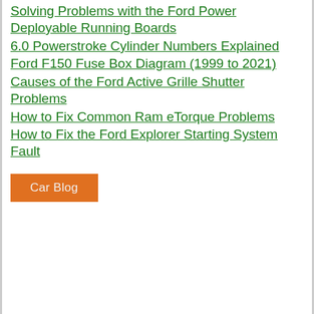Solving Problems with the Ford Power Deployable Running Boards
6.0 Powerstroke Cylinder Numbers Explained
Ford F150 Fuse Box Diagram (1999 to 2021)
Causes of the Ford Active Grille Shutter Problems
How to Fix Common Ram eTorque Problems
How to Fix the Ford Explorer Starting System Fault
Car Blog